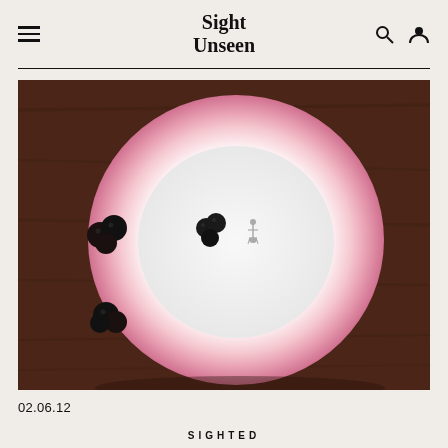Sight Unseen
[Figure (photo): Top-down view of a white plate with pink rim on a dark wood surface, with blackberries scattered around and on the plate, and a small decorative figurine in the center of the plate]
02.06.12
SIGHTED